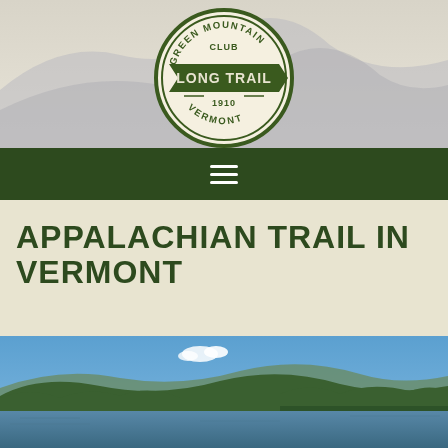[Figure (logo): Green Mountain Club Long Trail Vermont 1910 circular logo with arrow banner]
[Figure (illustration): Dark green navigation bar with hamburger menu icon (three white horizontal lines)]
APPALACHIAN TRAIL IN VERMONT
[Figure (photo): Scenic lake with forested hills and blue sky with small clouds in Vermont]